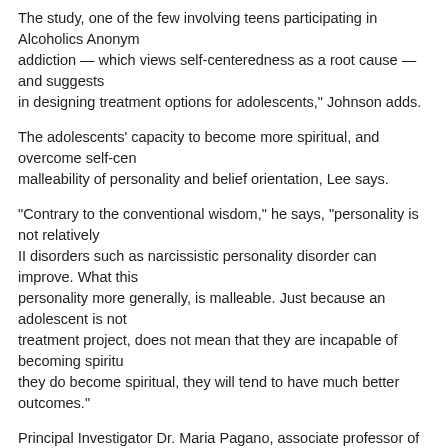The study, one of the few involving teens participating in Alcoholics Anonymous, addiction — which views self-centeredness as a root cause — and suggests in designing treatment options for adolescents," Johnson adds.
The adolescents' capacity to become more spiritual, and overcome self-centeredness malleability of personality and belief orientation, Lee says.
"Contrary to the conventional wisdom," he says, "personality is not relatively II disorders such as narcissistic personality disorder can improve. What this personality more generally, is malleable. Just because an adolescent is not treatment project, does not mean that they are incapable of becoming spiritually. If they do become spiritual, they will tend to have much better outcomes."
Principal Investigator Dr. Maria Pagano, associate professor of psychiatry at School of Medicine, suggests that "changes in spirituality during treatment may youth off of the track of substance dependency and onto the track of recovery, countering harmful social trends like youth unemployment and decreased volunteering in addiction recovery."
"In other words," she adds, "change is possible and spiritual experience may will encourage the engagement of the youth within their influence.